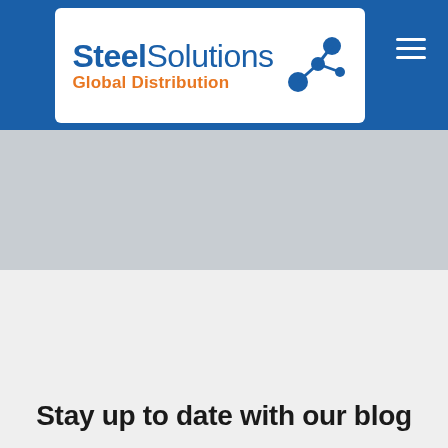[Figure (logo): Steel Solutions Global Distribution logo with blue text and orange subtitle, accompanied by a blue network/molecule icon]
[Figure (other): Hamburger menu icon (three horizontal white lines) in the top-right navigation bar]
[Figure (photo): Large hero image area with a light grey background placeholder]
Stay up to date with our blog